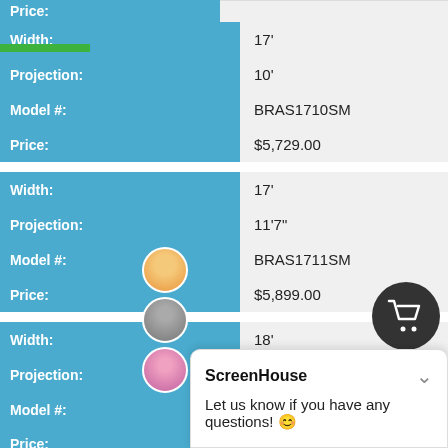| Field | Value |
| --- | --- |
| Width: | 17' |
| Projection: | 10' |
| Model #: | BRAS1710SM |
| Price: | $5,729.00 |
| Width: | 17' |
| Projection: | 11'7" |
| Model #: | BRAS1711SM |
| Price: | $5,899.00 |
| Width: | 18' |
| Projection: | 10' |
| Model #: | BRAS1810SM |
| Price: |  |
| Width: |  |
| Projection: | 11'7" |
ScreenHouse — Let us know if you have any questions!